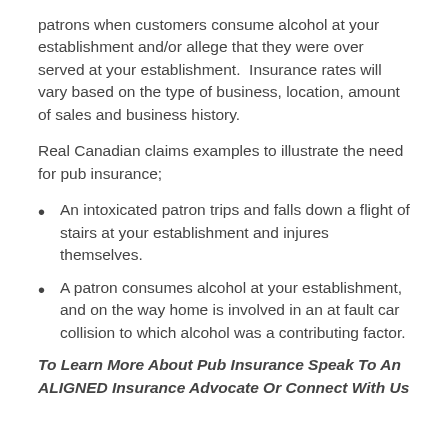patrons when customers consume alcohol at your establishment and/or allege that they were over served at your establishment.  Insurance rates will vary based on the type of business, location, amount of sales and business history.
Real Canadian claims examples to illustrate the need for pub insurance;
An intoxicated patron trips and falls down a flight of stairs at your establishment and injures themselves.
A patron consumes alcohol at your establishment, and on the way home is involved in an at fault car collision to which alcohol was a contributing factor.
To Learn More About Pub Insurance Speak To An ALIGNED Insurance Advocate Or Connect With Us